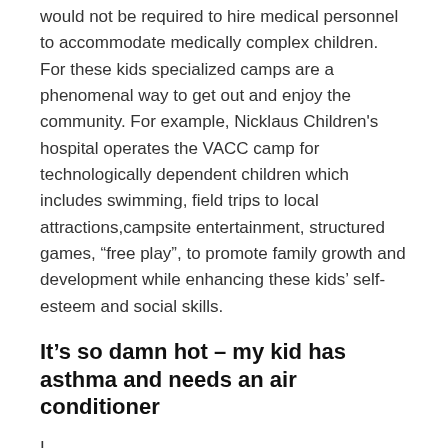would not be required to hire medical personnel to accommodate medically complex children. For these kids specialized camps are a phenomenal way to get out and enjoy the community. For example, Nicklaus Children's hospital operates the VACC camp for technologically dependent children which includes swimming, field trips to local attractions,campsite entertainment, structured games, "free play", to promote family growth and development while enhancing these kids' self-esteem and social skills.
It's so damn hot – my kid has asthma and needs an air conditioner
I...